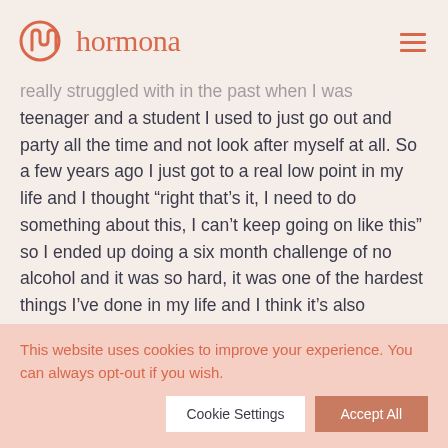hormona
really struggled with in the past when I was teenager and a student I used to just go out and party all the time and not look after myself at all. So a few years ago I just got to a real low point in my life and I thought “right that’s it, I need to do something about this, I can’t keep going on like this” so I ended up doing a six month challenge of no alcohol and it was so hard, it was one of the hardest things I’ve done in my life and I think it’s also engrained in our society as well, that it’s a bit
This website uses cookies to improve your experience. You can always opt-out if you wish.